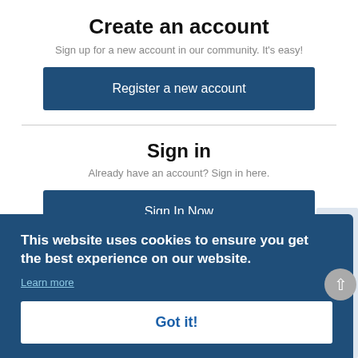Create an account
Sign up for a new account in our community. It's easy!
Register a new account
Sign in
Already have an account? Sign in here.
Sign In Now
This website uses cookies to ensure you get the best experience on our website.
Learn more
Got it!